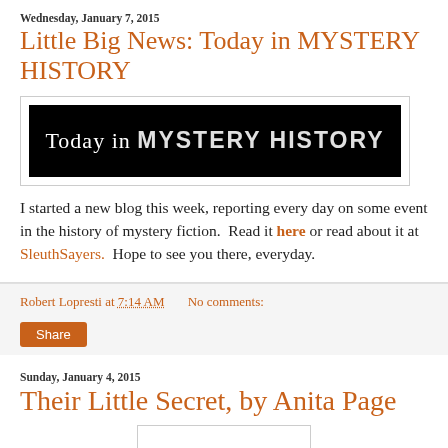Wednesday, January 7, 2015
Little Big News: Today in MYSTERY HISTORY
[Figure (illustration): Banner image with black background and white text reading 'Today in MYSTERY HISTORY']
I started a new blog this week, reporting every day on some event in the history of mystery fiction.  Read it here or read about it at SleuthSayers.  Hope to see you there, everyday.
Robert Lopresti at 7:14 AM   No comments:
Share
Sunday, January 4, 2015
Their Little Secret, by Anita Page
[Figure (illustration): Partial image placeholder visible at bottom of page]